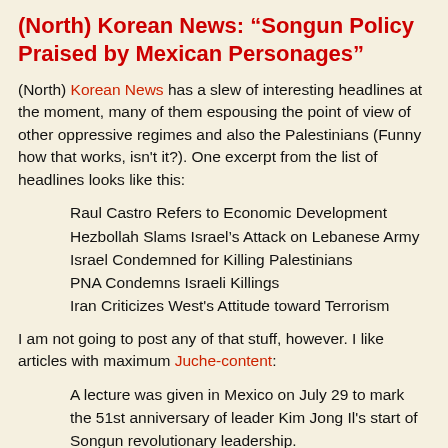(North) Korean News: "Songun Policy Praised by Mexican Personages"
(North) Korean News has a slew of interesting headlines at the moment, many of them espousing the point of view of other oppressive regimes and also the Palestinians (Funny how that works, isn't it?). One excerpt from the list of headlines looks like this:
Raul Castro Refers to Economic Development
Hezbollah Slams Israel's Attack on Lebanese Army
Israel Condemned for Killing Palestinians
PNA Condemns Israeli Killings
Iran Criticizes West's Attitude toward Terrorism
I am not going to post any of that stuff, however. I like articles with maximum Juche-content:
A lecture was given in Mexico on July 29 to mark the 51st anniversary of leader Kim Jong Il's start of Songun revolutionary leadership.